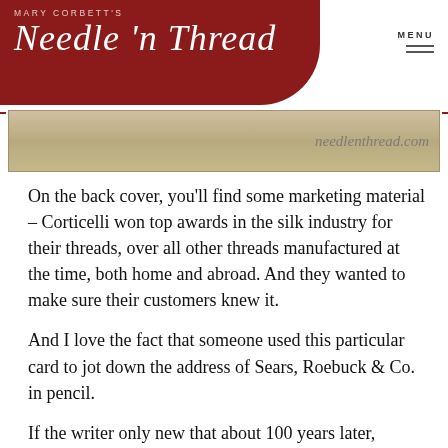MARY CORBETT'S Needle 'n Thread
[Figure (photo): A vintage thread color card strip with needlethreads.com watermark text]
On the back cover, you’ll find some marketing material – Corticelli won top awards in the silk industry for their threads, over all other threads manufactured at the time, both home and abroad. And they wanted to make sure their customers knew it.
And I love the fact that someone used this particular card to jot down the address of Sears, Roebuck & Co. in pencil.
If the writer only new that about 100 years later, someone else would be treasuring this card, she might not have written on it. But I’m glad she did!
So, a little history of silk manufacturing in the US and a glimpse at the very handy real thread color card.
If you have a favorite line of threads and they don’t produce a real thread color card, it could be a fun project, to make your